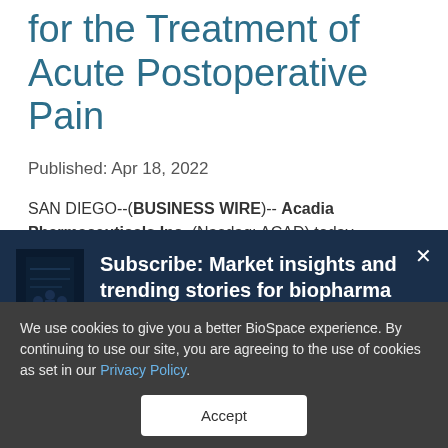for the Treatment of Acute Postoperative Pain
Published: Apr 18, 2022
SAN DIEGO--(BUSINESS WIRE)-- Acadia Pharmaceuticals Inc. (Nasdaq: ACAD) today announced top-line results from
[Figure (other): Subscribe banner with book image and text: Subscribe: Market insights and trending stories for biopharma leaders]
We use cookies to give you a better BioSpace experience. By continuing to use our site, you are agreeing to the use of cookies as set in our Privacy Policy.
Accept